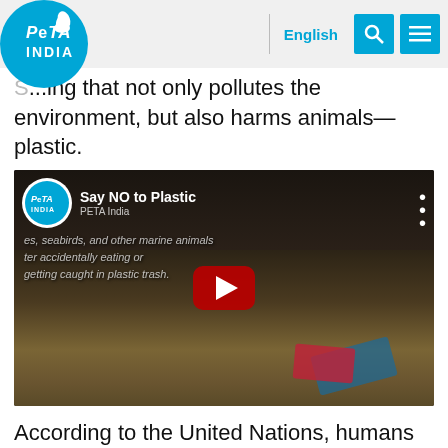PETA INDIA | English
...ing that not only pollutes the environment, but also harms animals—plastic.
[Figure (screenshot): YouTube video embed titled 'Say NO to Plastic' by PETA India, showing a beach with plastic trash and a dead animal, with a red play button in the center. Overlaid text reads: 'es, seabirds, and other marine animals ter accidentally eating or getting caught in plastic trash.']
According to the United Nations, humans use around 500 billion plastic bags each year, which wind up in our oceans, rivers and forests, and hurting and killing